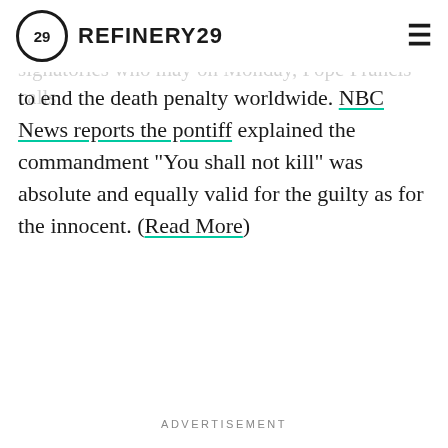REFINERY29
worldwide ban on the death penalty.
to end the death penalty worldwide. NBC News reports the pontiff explained the commandment "You shall not kill" was absolute and equally valid for the guilty as for the innocent. (Read More)
ADVERTISEMENT